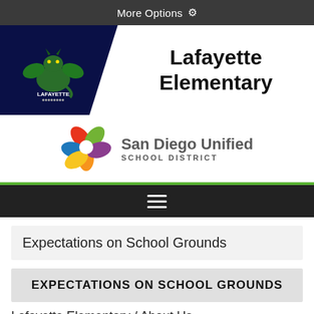More Options ⚙
[Figure (logo): Lafayette Elementary school logo with dragon mascot on dark navy background]
Lafayette Elementary
[Figure (logo): San Diego Unified School District colorful pinwheel logo]
San Diego Unified SCHOOL DISTRICT
[Figure (other): Navigation hamburger menu bar]
Expectations on School Grounds
EXPECTATIONS ON SCHOOL GROUNDS
Lafayette Elementary / About Us